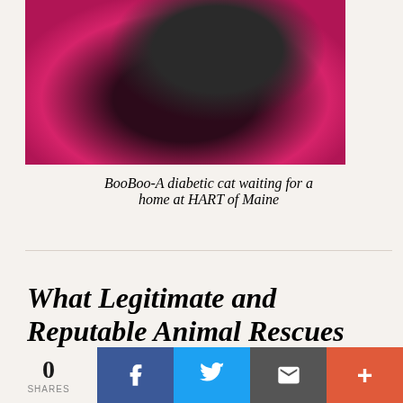[Figure (photo): A black cat resting on a pink/magenta blanket, viewed from the side, with white whiskers visible. The photo is cropped and shows the top portion of the cat.]
BooBoo-A diabetic cat waiting for a home at HART of Maine
What Legitimate and Reputable Animal Rescues Look Like
Jersey State Animal Rescue (a 501c3) often posts pics of their adoptables at Pet Smart and you always see the cat room or the store in the background. You
0 SHARES | Facebook | Twitter | Email | More